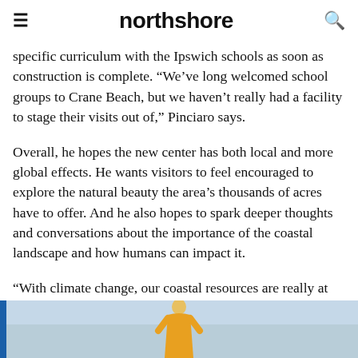northshore
specific curriculum with the Ipswich schools as soon as construction is complete. “We’ve long welcomed school groups to Crane Beach, but we haven’t really had a facility to stage their visits out of,” Pinciaro says.
Overall, he hopes the new center has both local and more global effects. He wants visitors to feel encouraged to explore the natural beauty the area’s thousands of acres have to offer. And he also hopes to spark deeper thoughts and conversations about the importance of the coastal landscape and how humans can impact it.
“With climate change, our coastal resources are really at risk,” Pinciaro says. “This is a major opportunity to help people learn how sea level rise is going to affect them if
[Figure (photo): Partial photo at bottom of page showing a person in a yellow top against a sky background, with a blue sidebar on the left edge.]